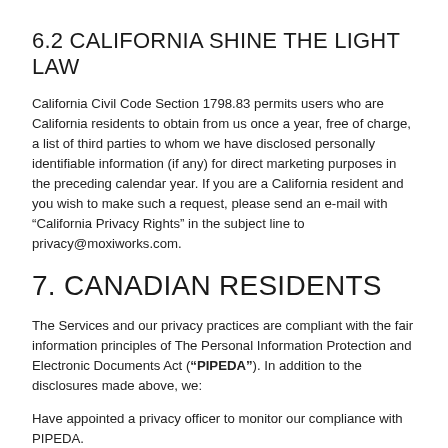6.2 CALIFORNIA SHINE THE LIGHT LAW
California Civil Code Section 1798.83 permits users who are California residents to obtain from us once a year, free of charge, a list of third parties to whom we have disclosed personally identifiable information (if any) for direct marketing purposes in the preceding calendar year. If you are a California resident and you wish to make such a request, please send an e-mail with "California Privacy Rights" in the subject line to privacy@moxiworks.com.
7. CANADIAN RESIDENTS
The Services and our privacy practices are compliant with the fair information principles of The Personal Information Protection and Electronic Documents Act ("PIPEDA"). In addition to the disclosures made above, we:
Have appointed a privacy officer to monitor our compliance with PIPEDA.
Only collect personal information for the uses described in this